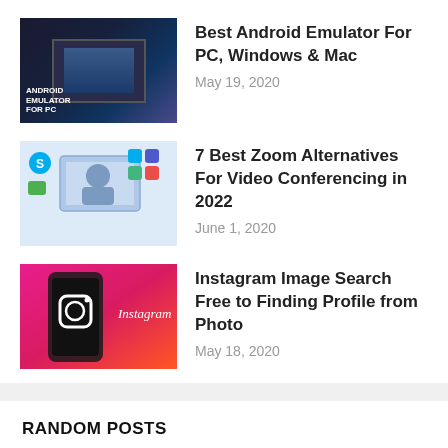[Figure (photo): Thumbnail image for Android Emulator article showing a dark-themed screen with Android Emulator text]
Best Android Emulator For PC, Windows & Mac
May 19, 2020
[Figure (illustration): Thumbnail showing video conferencing illustration with app icons and people on screen]
7 Best Zoom Alternatives For Video Conferencing in 2022
June 1, 2020
[Figure (photo): Thumbnail showing Instagram logo on a pink/magenta phone background]
Instagram Image Search Free to Finding Profile from Photo
May 18, 2020
RANDOM POSTS
Animekisa
M4uFree
CMovies